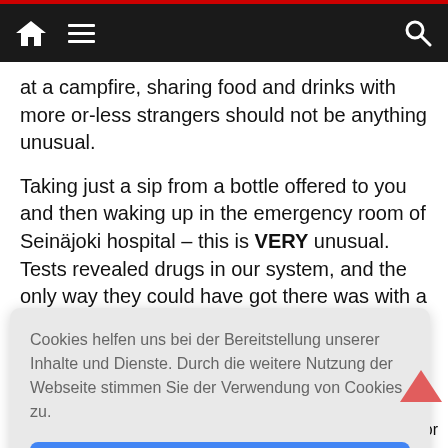[Navigation bar with home icon, hamburger menu, and search icon]
at a campfire, sharing food and drinks with more or-less strangers should not be anything unusual.
Taking just a sip from a bottle offered to you and then waking up in the emergency room of Seinäjoki hospital – this is VERY unusual. Tests revealed drugs in our system, and the only way they could have got there was with a spiked liquid. We don't really know what happened due
Cookies helfen uns bei der Bereitstellung unserer Inhalte und Dienste. Durch die weitere Nutzung der Webseite stimmen Sie der Verwendung von Cookies zu.
Okay!
sinister intent behin
Privacy & Cookies Policy
ses or